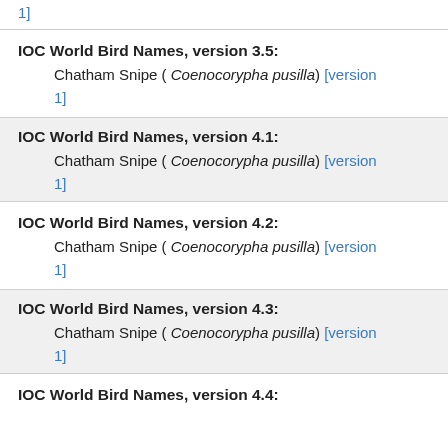[version 1]
IOC World Bird Names, version 3.5:
Chatham Snipe ( Coenocorypha pusilla) [version 1]
IOC World Bird Names, version 4.1:
Chatham Snipe ( Coenocorypha pusilla) [version 1]
IOC World Bird Names, version 4.2:
Chatham Snipe ( Coenocorypha pusilla) [version 1]
IOC World Bird Names, version 4.3:
Chatham Snipe ( Coenocorypha pusilla) [version 1]
IOC World Bird Names, version 4.4: